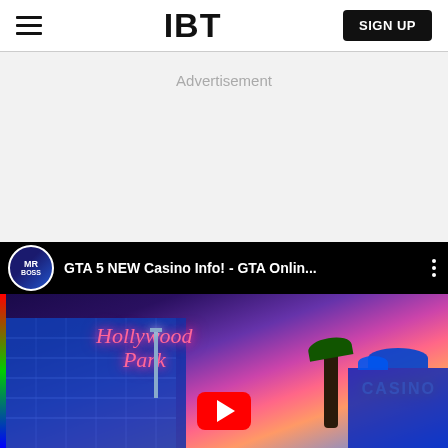IBT
Advertisement
[Figure (screenshot): YouTube video thumbnail showing 'GTA 5 NEW Casino Info! - GTA Onlin...' with MrBoss channel avatar and a colorful casino building scene at night with Hollywood Park and Casino signs, featuring a red YouTube play button overlay.]